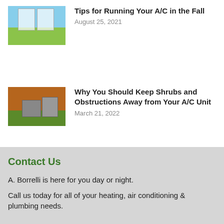[Figure (photo): Photo of open windows with outdoor view]
Tips for Running Your A/C in the Fall
August 25, 2021
[Figure (photo): Photo of outdoor A/C unit next to house with shrubs]
Why You Should Keep Shrubs and Obstructions Away from Your A/C Unit
March 21, 2022
Contact Us
A. Borrelli is here for you day or night.
Call us today for all of your heating, air conditioning & plumbing needs.